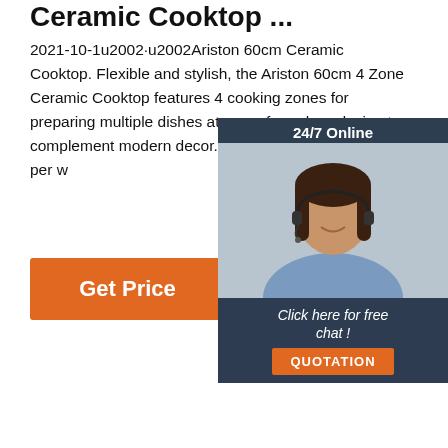Ceramic Cooktop ...
2021-10-1u2002·u2002Ariston 60cm Ceramic Cooktop. Flexible and stylish, the Ariston 60cm 4 Zone Ceramic Cooktop features 4 cooking zones for preparing multiple dishes at once, frameless design to complement modern decor. $947. NZD. Approx. $3.64 per w
[Figure (illustration): Orange 'Get Price' button]
[Figure (illustration): Chat widget with '24/7 Online' header, photo of woman with headset, 'Click here for free chat!' text, and orange 'QUOTATION' button]
[Figure (logo): Orange TOP icon with dots arranged in arc above the word TOP]